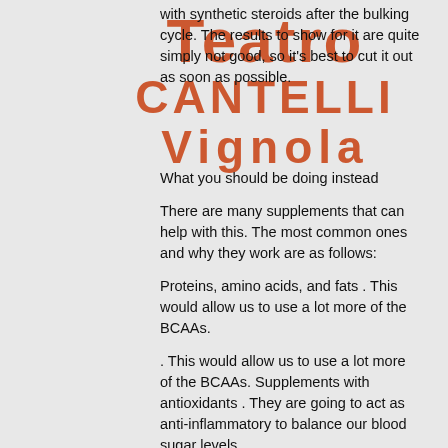[Figure (other): Watermark text overlay reading 'Teatro CANTELLI Vignola' in red/orange bold lettering]
with synthetic steroids after the bulking cycle. The results to show for it are quite simply not good, so it's best to cut it out as soon as possible.
What you should be doing instead
There are many supplements that can help with this. The most common ones and why they work are as follows:
Proteins, amino acids, and fats . This would allow us to use a lot more of the BCAAs.
. This would allow us to use a lot more of the BCAAs. Supplements with antioxidants . They are going to act as anti-inflammatory to balance our blood sugar levels.
. They are going to act as anti-inflammatory to balance our blood sugar levels. Antioxidants/vitamins. In the supplement